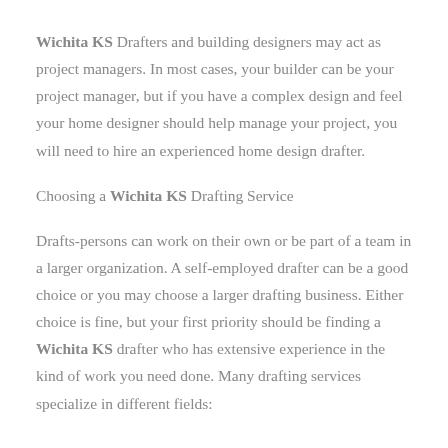Wichita KS Drafters and building designers may act as project managers. In most cases, your builder can be your project manager, but if you have a complex design and feel your home designer should help manage your project, you will need to hire an experienced home design drafter.
Choosing a Wichita KS Drafting Service
Drafts-persons can work on their own or be part of a team in a larger organization. A self-employed drafter can be a good choice or you may choose a larger drafting business. Either choice is fine, but your first priority should be finding a Wichita KS drafter who has extensive experience in the kind of work you need done. Many drafting services specialize in different fields: